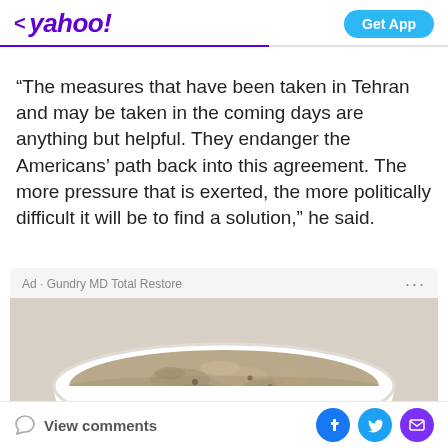< yahoo!  Get App
“The measures that have been taken in Tehran and may be taken in the coming days are anything but helpful. They endanger the Americans’ path back into this agreement. The more pressure that is exerted, the more politically difficult it will be to find a solution,” he said.
[Figure (photo): Advertisement from Gundry MD Total Restore showing a white bowl filled with oatmeal or porridge on a white background.]
View comments  [Facebook] [Twitter] [Email]